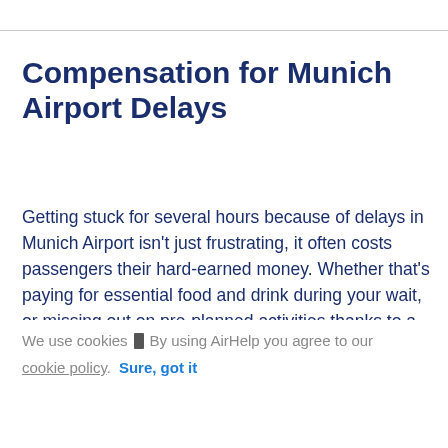Compensation for Munich Airport Delays
Getting stuck for several hours because of delays in Munich Airport isn't just frustrating, it often costs passengers their hard-earned money. Whether that's paying for essential food and drink during your wait, or missing out on pre-planned activities thanks to a late arrival at your destination. That's why it's so
We use cookies ▏ By using AirHelp you agree to our cookie policy. Sure, got it